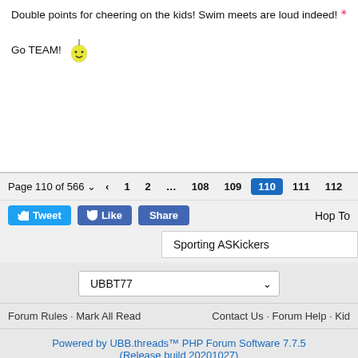Double points for cheering on the kids! Swim meets are loud indeed!
Go TEAM! 🙂
Page 110 of 566 · 1 2 ... 108 109 110 111 112 ... 565
Tweet · Like · Share · Hop To
Sporting ASKickers
UBBT77
Forum Rules · Mark All Read · Contact Us · Forum Help · Kid
Powered by UBB.threads™ PHP Forum Software 7.7.5 (Release build 20201027)
Responsive Width: Narrow < 460px
PHP: 5.5.38 Page Time: 0.120s Queries: 35 (0.101s)
Memory: 3.2994 MB (Peak: 3.5336 MB) Data Comp: Zlib
Server Time: 2022-09-03 04:20:21 UTC
Valid HTML 5 and Valid CSS